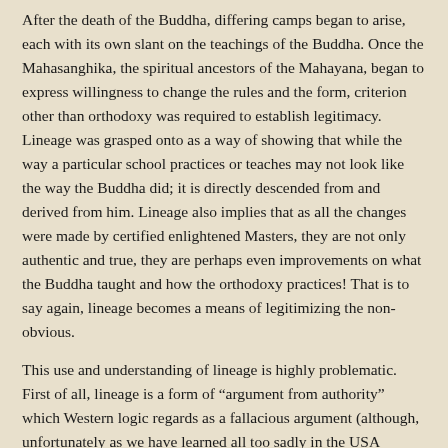After the death of the Buddha, differing camps began to arise, each with its own slant on the teachings of the Buddha. Once the Mahasanghika, the spiritual ancestors of the Mahayana, began to express willingness to change the rules and the form, criterion other than orthodoxy was required to establish legitimacy. Lineage was grasped onto as a way of showing that while the way a particular school practices or teaches may not look like the way the Buddha did; it is directly descended from and derived from him. Lineage also implies that as all the changes were made by certified enlightened Masters, they are not only authentic and true, they are perhaps even improvements on what the Buddha taught and how the orthodoxy practices! That is to say again, lineage becomes a means of legitimizing the non-obvious.
This use and understanding of lineage is highly problematic. First of all, lineage is a form of “argument from authority” which Western logic regards as a fallacious argument (although, unfortunately as we have learned all too sadly in the USA throughout the “war on terrorism,” all too accepted